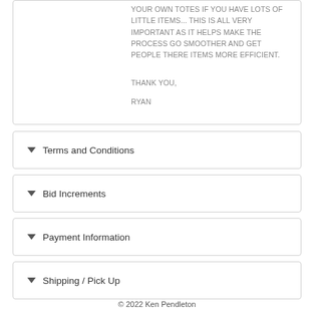YOUR OWN TOTES IF YOU HAVE LOTS OF LITTLE ITEMS... THIS IS ALL VERY IMPORTANT AS IT HELPS MAKE THE PROCESS GO SMOOTHER AND GET PEOPLE THERE ITEMS MORE EFFICIENT.

THANK YOU,

RYAN
Terms and Conditions
Bid Increments
Payment Information
Shipping / Pick Up
© 2022 Ken Pendleton